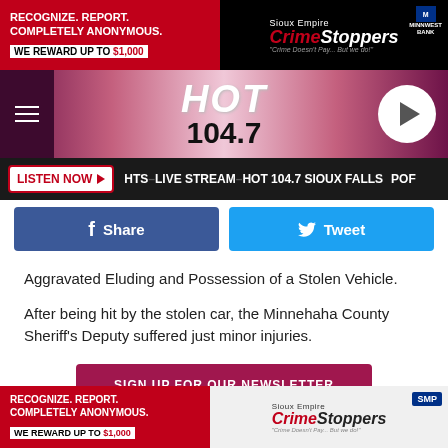[Figure (illustration): Sioux Empire Crime Stoppers advertisement banner with red background on left reading RECOGNIZE. REPORT. COMPLETELY ANONYMOUS. WE REWARD UP TO $1,000 and Crime Stoppers logo with Minnwest Bank logo on right]
[Figure (logo): HOT 104.7 radio station navigation bar with pink gradient background, hamburger menu on left, HOT 104.7 logo in center, play button on right]
[Figure (screenshot): LISTEN NOW button bar with dark background, showing HITS-LIVE STREAM-HOT 104.7 SIOUX FALLS scrolling text]
[Figure (other): Facebook Share button (blue) and Twitter Tweet button (light blue) social share buttons]
Aggravated Eluding and Possession of a Stolen Vehicle.
After being hit by the stolen car, the Minnehaha County Sheriff’s Deputy suffered just minor injuries.
[Figure (other): SIGN UP FOR OUR NEWSLETTER button in dark red/maroon]
See Also:
[Figure (illustration): Sioux Empire Crime Stoppers advertisement banner at bottom with red background on left reading RECOGNIZE. REPORT. COMPLETELY ANONYMOUS. WE REWARD UP TO $1,000 and Crime Stoppers logo with SMP logo on right on gray background]